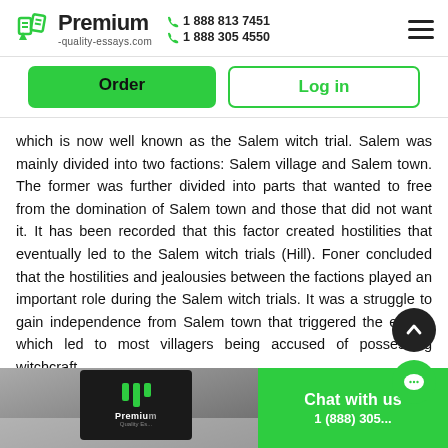Premium-quality-essays.com | 1 888 813 7451 | 1 888 305 4550
Order | Log in
which is now well known as the Salem witch trial. Salem was mainly divided into two factions: Salem village and Salem town. The former was further divided into parts that wanted to free from the domination of Salem town and those that did not want it. It has been recorded that this factor created hostilities that eventually led to the Salem witch trials (Hill). Foner concluded that the hostilities and jealousies between the factions played an important role during the Salem witch trials. It was a struggle to gain independence from Salem town that triggered the events which led to most villagers being accused of possessing witchcraft.
[Figure (screenshot): Bottom banner with Premium Quality Essays logo image on the left and green 'Chat with us' panel on the right with phone number starting 1 (888) 305...]